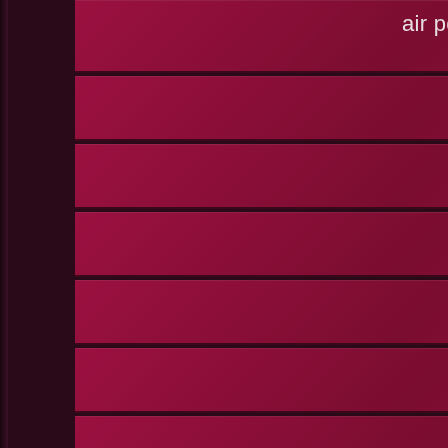air pollution causes global warming essay
air pollution essay for oral
air pollution essay introduction
air pollution essay wikipedia
air pollution in big cities essay
air pollution in the city essay
air pollution problem essay
air pollution short essay
air pollution thesis statement